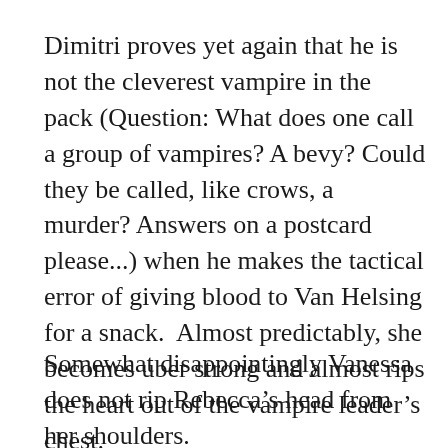Dimitri proves yet again that he is not the cleverest vampire in the pack (Question: What does one call a group of vampires? A bevy? Could they be called, like crows, a murder? Answers on a postcard please...) when he makes the tactical error of giving blood to Van Helsing for a snack.  Almost predictably, she becomes uber strong and almost rips the heart out of the vampire leader's chest.
Somewhat disappointingly Vanessa does not rip Rebecca's head from her shoulders.